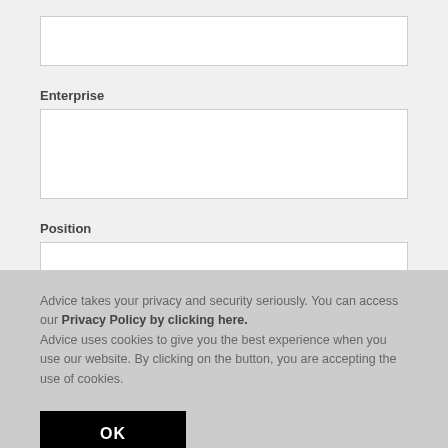[Figure (screenshot): Empty white text input box at the top of the form]
Enterprise
[Figure (screenshot): Empty white text input box for Enterprise field]
Position
[Figure (screenshot): Empty white text input box for Position field]
Advice takes your privacy and security seriously. You can access our Privacy Policy by clicking here. Advice uses cookies to give you the best experience when you use our website. By clicking on the button, you are accepting the use of cookies.
OK